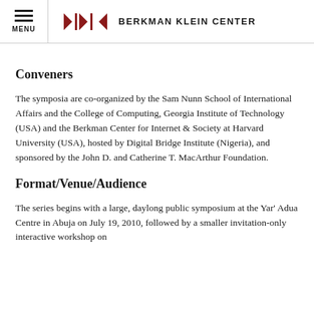MENU | BERKMAN KLEIN CENTER
Conveners
The symposia are co-organized by the Sam Nunn School of International Affairs and the College of Computing, Georgia Institute of Technology (USA) and the Berkman Center for Internet & Society at Harvard University (USA), hosted by Digital Bridge Institute (Nigeria), and sponsored by the John D. and Catherine T. MacArthur Foundation.
Format/Venue/Audience
The series begins with a large, daylong public symposium at the Yar' Adua Centre in Abuja on July 19, 2010, followed by a smaller invitation-only interactive workshop on